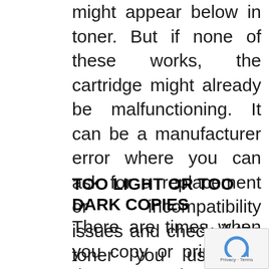might appear below in toner. But if none of these works, the cartridge might already be malfunctioning. It can be a manufacturer error where you can ask for a replacement or incompatibility issues and check if the toner you used is compatible with your machine.
TOO LIGHT OR TOO DARK COPIES
There are times when you copy or print your document where one side is too light, and the other side is too dark. This happens when the